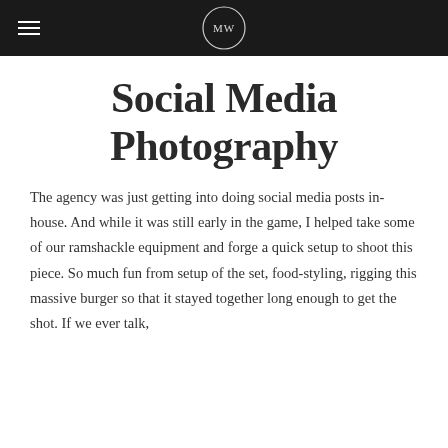MW
Social Media Photography
The agency was just getting into doing social media posts in-house. And while it was still early in the game, I helped take some of our ramshackle equipment and forge a quick setup to shoot this piece. So much fun from setup of the set, food-styling, rigging this massive burger so that it stayed together long enough to get the shot. If we ever talk,